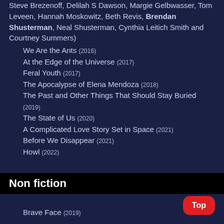Steve Brezenoff, Delilah S Dawson, Margie Gelbwasser, Tom Leveen, Hannah Moskowitz, Beth Revis, Brendan Shusterman, Neal Shusterman, Cynthia Leitich Smith and Courtney Summers)
We Are the Ants (2016)
At the Edge of the Universe (2017)
Feral Youth (2017)
The Apocalypse of Elena Mendoza (2018)
The Past and Other Things That Should Stay Buried (2019)
The State of Us (2020)
A Complicated Love Story Set in Space (2021)
Before We Disappear (2021)
Howl (2022)
Non fiction
Brave Face (2019)